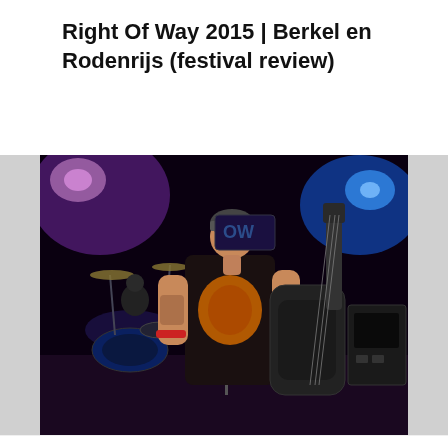Right Of Way 2015 | Berkel en Rodenrijs (festival review)
[Figure (photo): Guitarist/vocalist on stage at Right Of Way 2015 festival, wearing a black sleeveless shirt with orange graphic, playing a dark electric guitar. Drummer visible in background. Stage lit with purple and blue lighting.]
[Figure (photo): Event banner showing '26 SEPTEMBER' in large white letters on a purple/blue background with 'FLAGEOUT' text below.]